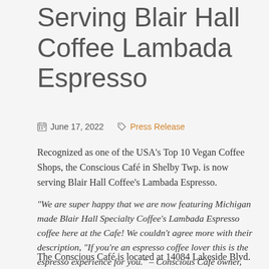Serving Blair Hall Coffee Lambada Espresso
June 17, 2022   Press Release
Recognized as one of the USA's Top 10 Vegan Coffee Shops, the Conscious Café in Shelby Twp. is now serving Blair Hall Coffee's Lambada Espresso.
“We are super happy that we are now featuring Michigan made Blair Hall Specialty Coffee’s Lambada Espresso coffee here at the Cafe! We couldn't agree more with their description, "If you're an espresso coffee lover this is the espresso experience for you."  – Conscious Café owner, Phyllis.
The Conscious Café is located at 14084 Lakeside Blvd.